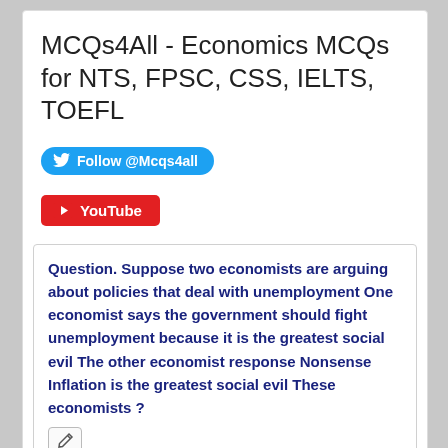MCQs4All - Economics MCQs for NTS, FPSC, CSS, IELTS, TOEFL
[Figure (other): Twitter Follow @Mcqs4all button (blue rounded)]
[Figure (other): YouTube button (red rounded rectangle)]
Question. Suppose two economists are arguing about policies that deal with unemployment One economist says the government should fight unemployment because it is the greatest social evil The other economist response Nonsense Inflation is the greatest social evil These economists ?
a. really don't disagree at all It just appears that they disagree.